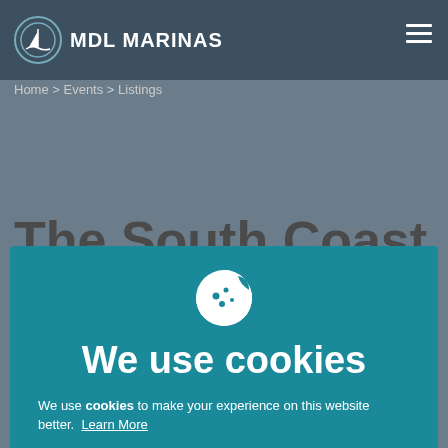MDL MARINAS
Home > Events > Listings
The South Coast
[Figure (screenshot): Cookie consent modal overlay on MDL Marinas website. Teal background with cookie icon, title 'We use cookies', description text, Accept All Cookies button, and Accept Essential Cookies Only link.]
We use cookies
We use cookies to make your experience on this website better. Learn More
ACCEPT ALL COOKIES
ACCEPT ESSENTIAL COOKIES ONLY